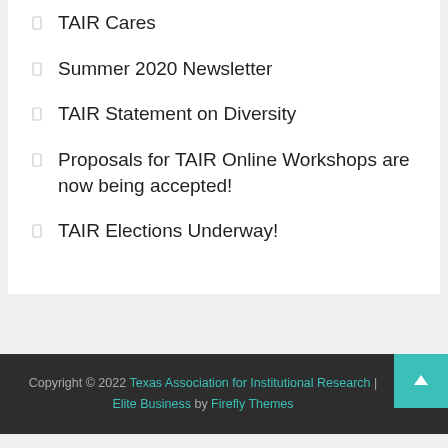TAIR Cares
Summer 2020 Newsletter
TAIR Statement on Diversity
Proposals for TAIR Online Workshops are now being accepted!
TAIR Elections Underway!
Copyright © 2022 Texas Association for Institutional Research | Elite Business by Firefly Themes